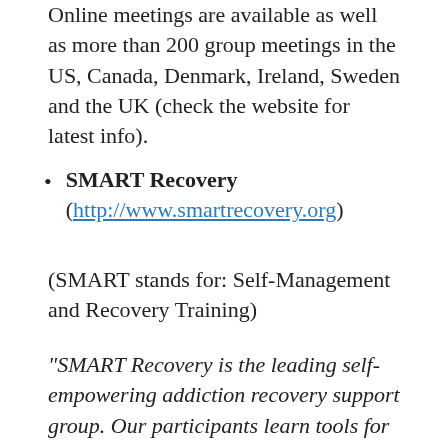Online meetings are available as well as more than 200 group meetings in the US, Canada, Denmark, Ireland, Sweden and the UK (check the website for latest info).
SMART Recovery (http://www.smartrecovery.org)
(SMART stands for: Self-Management and Recovery Training)
“SMART Recovery is the leading self-empowering addiction recovery support group. Our participants learn tools for addiction recovery based on the latest scientific research and participate in a world-wide community which includes free, self-empowering, science-based mutual help groups.”